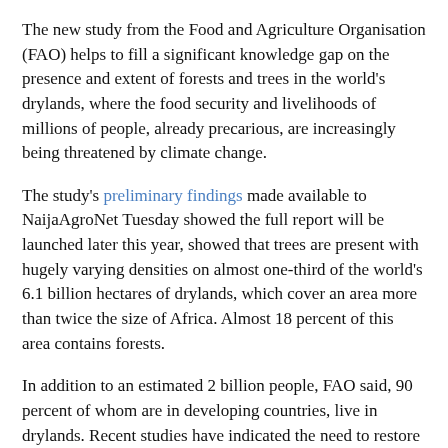The new study from the Food and Agriculture Organisation (FAO) helps to fill a significant knowledge gap on the presence and extent of forests and trees in the world's drylands, where the food security and livelihoods of millions of people, already precarious, are increasingly being threatened by climate change.
The study's preliminary findings made available to NaijaAgroNet Tuesday showed the full report will be launched later this year, showed that trees are present with hugely varying densities on almost one-third of the world's 6.1 billion hectares of drylands, which cover an area more than twice the size of Africa. Almost 18 percent of this area contains forests.
In addition to an estimated 2 billion people, FAO said, 90 percent of whom are in developing countries, live in drylands. Recent studies have indicated the need to restore these areas to cope with the effects of drought, desertification and land degradation.
In particular, water availability in drylands is expected to decline further due to changes in climate and land use.  Poor people living in remote rural areas will be most vulnerable to food shortages, which combined with violence and social upheaval, are already